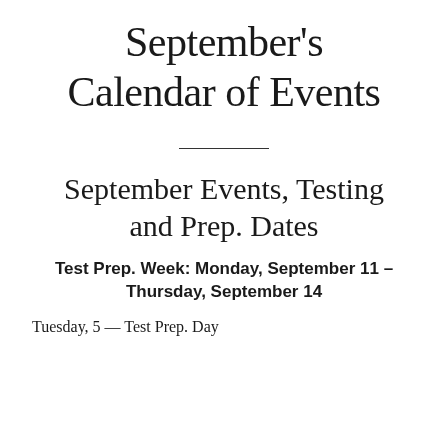September's Calendar of Events
September Events, Testing and Prep. Dates
Test Prep. Week: Monday, September 11 – Thursday, September 14
Tuesday, 5 — Test Prep. Day